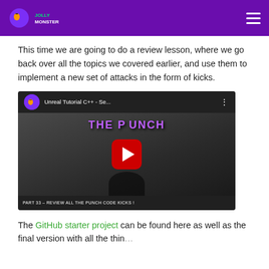Jolly Monster logo and navigation
This time we are going to do a review lesson, where we go back over all the topics we covered earlier, and use them to implement a new set of attacks in the form of kicks.
[Figure (screenshot): YouTube video thumbnail for 'Unreal Tutorial C++ - Se...' showing a fighting game character with a red YouTube play button overlay. Bottom caption reads 'PART 33 – REVIEW ALL THE PUNCH CODE KICKS!']
The GitHub starter project can be found here as well as the final version with all the things...